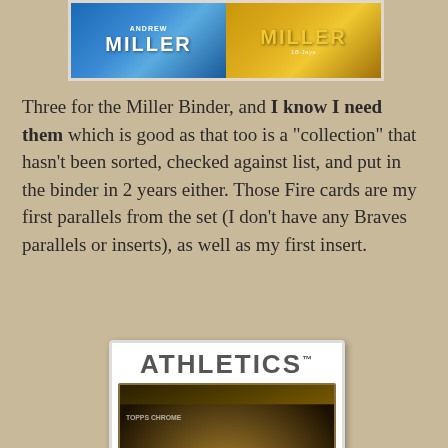[Figure (photo): Two baseball cards side by side showing Andrew Miller — one with blue background and one with gold/yellow background, both displaying the name MILLER]
Three for the Miller Binder, and I know I need them which is good as that too is a "collection" that hasn't been sorted, checked against list, and put in the binder in 2 years either. Those Fire cards are my first parallels from the set (I don't have any Braves parallels or inserts), as well as my first insert.
[Figure (photo): A Topps Chrome baseball card for the Oakland Athletics showing a catcher in green and gold uniform in a throwing stance. The card header reads ATHLETICS with a trademark symbol.]